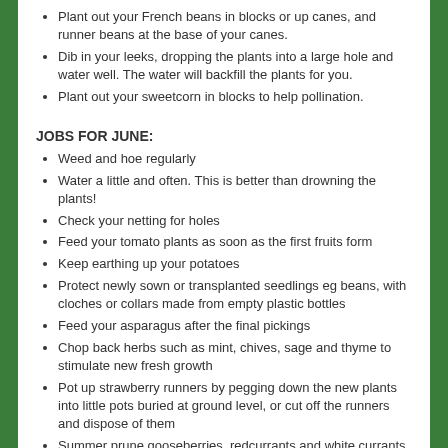Plant out your French beans in blocks or up canes, and runner beans at the base of your canes.
Dib in your leeks, dropping the plants into a large hole and water well. The water will backfill the plants for you.
Plant out your sweetcorn in blocks to help pollination.
JOBS FOR JUNE:
Weed and hoe regularly
Water a little and often. This is better than drowning the plants!
Check your netting for holes
Feed your tomato plants as soon as the first fruits form
Keep earthing up your potatoes
Protect newly sown or transplanted seedlings eg beans, with cloches or collars made from empty plastic bottles
Feed your asparagus after the final pickings
Chop back herbs such as mint, chives, sage and thyme to stimulate new fresh growth
Pot up strawberry runners by pegging down the new plants into little pots buried at ground level, or cut off the runners and dispose of them
Summer prune gooseberries, redcurrants and white currants by cutting back to five leaves all this year's lateral shoots. If